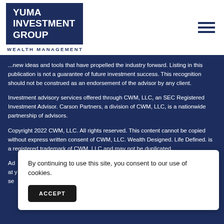[Figure (logo): Yuma Investment Group Wealth Management logo — dark navy blue rectangle with white bold text reading YUMA INVESTMENT GROUP, with WEALTH MANAGEMENT in spaced caps below]
...new ideas and tools that have propelled the industry forward. Listing in this publication is not a guarantee of future investment success. This recognition should not be construed as an endorsement of the advisor by any client.
Investment advisory services offered through CWM, LLC, an SEC Registered Investment Advisor. Carson Partners, a division of CWM, LLC, is a nationwide partnership of advisors.
Copyright 2022 CWM, LLC. All rights reserved. This content cannot be copied without express written consent of CWM, LLC. Wealth Designed. Life Defined. is a registered trademark of CWM, LLC and may not be duplicated.
Ad... at y... by sea...
By continuing to use this site, you consent to our use of cookies.
ACCEPT